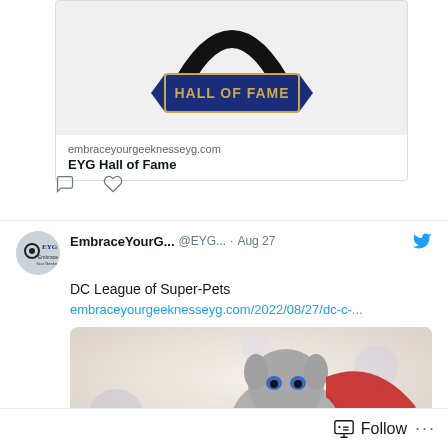[Figure (photo): Hall of Fame badge/pin with blue ribbon banner reading HALL OF FAME in gold letters, circular black border at top]
embraceyourgeekknesseyg.com
EYG Hall of Fame
[Figure (illustration): Twitter avatar for EmbraceYourGeekness with logo showing eye graphic and text]
EmbraceYourG... @EYG... · Aug 27
DC League of Super-Pets
embraceyourgeeknesseyg.com/2022/08/27/dc-c-...
[Figure (photo): Movie image from DC League of Super-Pets showing animated dog character wearing Superman cape and chest emblem, with bubbles in background]
Follow